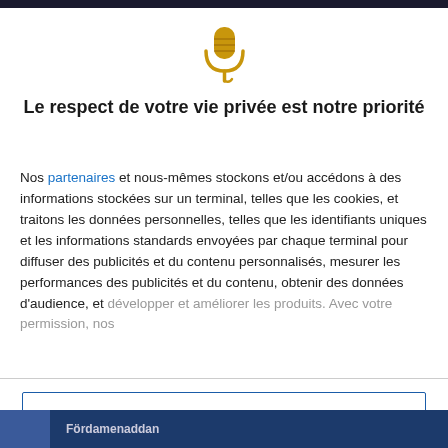[Figure (illustration): Gold microphone icon on white background]
Le respect de votre vie privée est notre priorité
Nos partenaires et nous-mêmes stockons et/ou accédons à des informations stockées sur un terminal, telles que les cookies, et traitons les données personnelles, telles que les identifiants uniques et les informations standards envoyées par chaque terminal pour diffuser des publicités et du contenu personnalisés, mesurer les performances des publicités et du contenu, obtenir des données d'audience, et développer et améliorer les produits. Avec votre permission, nos
J'ACCEPTE
PLUS D'OPTIONS